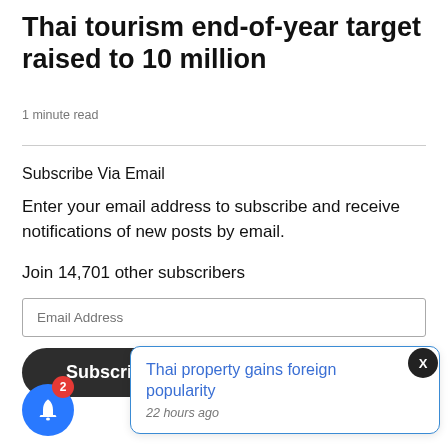Thai tourism end-of-year target raised to 10 million
1 minute read
Subscribe Via Email
Enter your email address to subscribe and receive notifications of new posts by email.
Join 14,701 other subscribers
Email Address
Subscribe
Thai property gains foreign popularity
22 hours ago